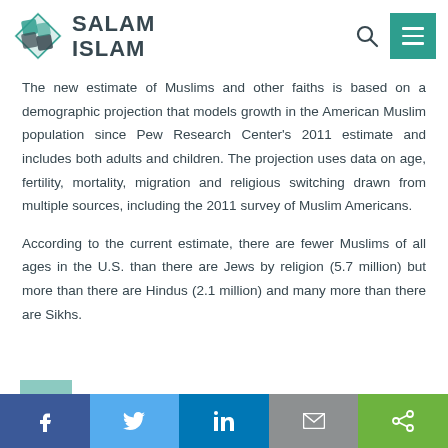SALAM ISLAM
The new estimate of Muslims and other faiths is based on a demographic projection that models growth in the American Muslim population since Pew Research Center's 2011 estimate and includes both adults and children. The projection uses data on age, fertility, mortality, migration and religious switching drawn from multiple sources, including the 2011 survey of Muslim Americans.
According to the current estimate, there are fewer Muslims of all ages in the U.S. than there are Jews by religion (5.7 million) but more than there are Hindus (2.1 million) and many more than there are Sikhs.
f  Twitter  in  Email  Share